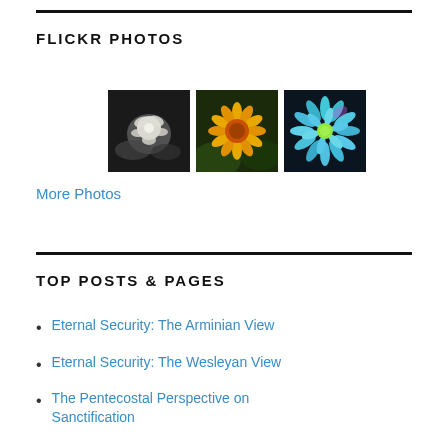FLICKR PHOTOS
[Figure (photo): Three flower photos side by side: a white rose in shadow, a yellow/orange daisy-like flower, and a blue/purple dahlia]
More Photos
TOP POSTS & PAGES
Eternal Security: The Arminian View
Eternal Security: The Wesleyan View
The Pentecostal Perspective on Sanctification